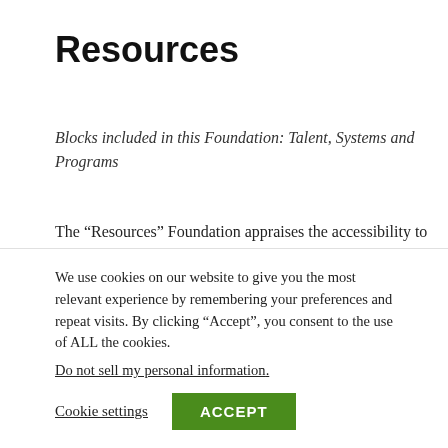Resources
Blocks included in this Foundation: Talent, Systems and Programs
The “Resources” Foundation appraises the accessibility to and the effectiveness of your organisations structural investment categories that need to be in place to help the Innovation Practise
We use cookies on our website to give you the most relevant experience by remembering your preferences and repeat visits. By clicking “Accept”, you consent to the use of ALL the cookies.
Do not sell my personal information.
Cookie settings | ACCEPT